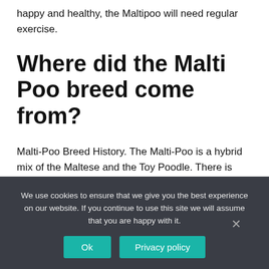happy and healthy, the Maltipoo will need regular exercise.
Where did the Malti Poo breed come from?
Malti-Poo Breed History. The Malti-Poo is a hybrid mix of the Maltese and the Toy Poodle. There is some history available for the hybrid in that it was created in the United States but the date of origin is unknown.
We use cookies to ensure that we give you the best experience on our website. If you continue to use this site we will assume that you are happy with it.